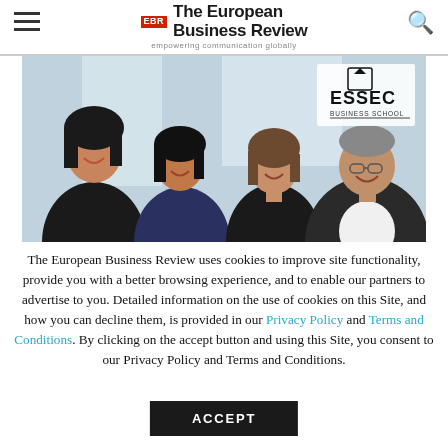EBR The European Business Review – empowering communication globally
[Figure (photo): Group photo of four professionals (three women and one man) smiling, with ESSEC Business School logo visible in the upper right of the photo. Background is a bright modern interior.]
The European Business Review uses cookies to improve site functionality, provide you with a better browsing experience, and to enable our partners to advertise to you. Detailed information on the use of cookies on this Site, and how you can decline them, is provided in our Privacy Policy and Terms and Conditions. By clicking on the accept button and using this Site, you consent to our Privacy Policy and Terms and Conditions.
ACCEPT